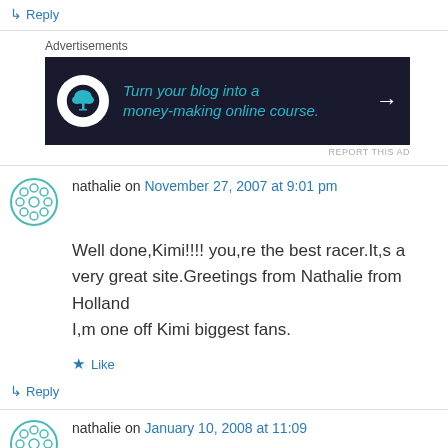↳ Reply
[Figure (other): Advertisement banner: dark navy background with white circle icon (bonsai tree), teal italic text 'Turn your blog into a money-making online course.' and white arrow]
nathalie on November 27, 2007 at 9:01 pm
Well done,Kimi!!!! you,re the best racer.It,s a very great site.Greetings from Nathalie from Holland
I,m one off Kimi biggest fans.
★ Like
↳ Reply
nathalie on January 10, 2008 at 11:09